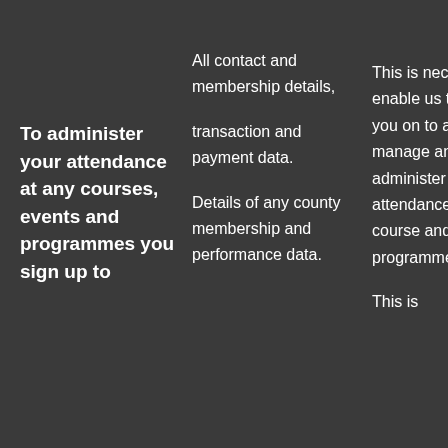To administer your attendance at any courses, events and programmes you sign up to
All contact and membership details, transaction and payment data. Details of any county membership and performance data.
This is necessary to enable us to register you on to and properly manage and administer your attendance on the course and/or programme. This is